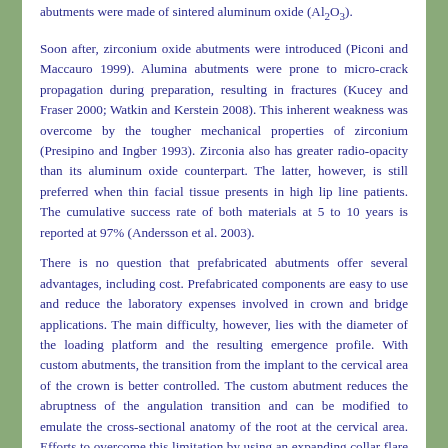abutments were made of sintered aluminum oxide (Al2O3).
Soon after, zirconium oxide abutments were introduced (Piconi and Maccauro 1999). Alumina abutments were prone to micro-crack propagation during preparation, resulting in fractures (Kucey and Fraser 2000; Watkin and Kerstein 2008). This inherent weakness was overcome by the tougher mechanical properties of zirconium (Presipino and Ingber 1993). Zirconia also has greater radio-opacity than its aluminum oxide counterpart. The latter, however, is still preferred when thin facial tissue presents in high lip line patients. The cumulative success rate of both materials at 5 to 10 years is reported at 97% (Andersson et al. 2003).
There is no question that prefabricated abutments offer several advantages, including cost. Prefabricated components are easy to use and reduce the laboratory expenses involved in crown and bridge applications. The main difficulty, however, lies with the diameter of the loading platform and the resulting emergence profile. With custom abutments, the transition from the implant to the cervical area of the crown is better controlled. The custom abutment reduces the abruptness of the angulation transition and can be modified to emulate the cross-sectional anatomy of the root at the cervical area. Efforts to overcome this limitation by using an expanding collar flare have improved the emergence profile but it does not always eliminate the